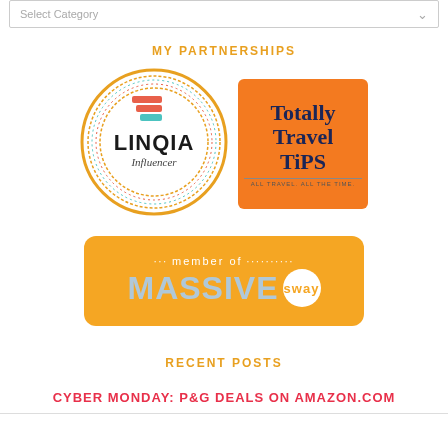Select Category
MY PARTNERSHIPS
[Figure (logo): LINQIA Influencer circular badge logo with orange and teal icon]
[Figure (logo): Totally Travel Tips logo - orange square with dark blue serif text]
[Figure (logo): Member of Massive Sway orange banner logo]
RECENT POSTS
CYBER MONDAY: P&G DEALS ON AMAZON.COM